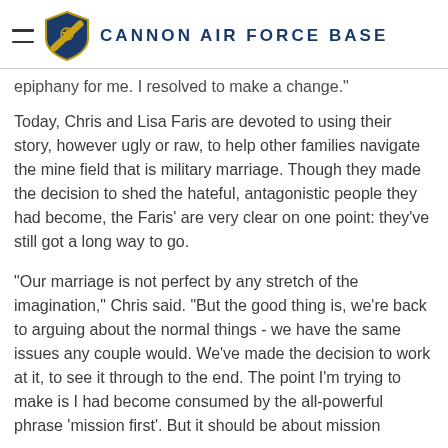CANNON AIR FORCE BASE
epiphany for me. I resolved to make a change."
Today, Chris and Lisa Faris are devoted to using their story, however ugly or raw, to help other families navigate the mine field that is military marriage. Though they made the decision to shed the hateful, antagonistic people they had become, the Faris' are very clear on one point: they've still got a long way to go.
"Our marriage is not perfect by any stretch of the imagination," Chris said. "But the good thing is, we're back to arguing about the normal things - we have the same issues any couple would. We've made the decision to work at it, to see it through to the end. The point I'm trying to make is I had become consumed by the all-powerful phrase 'mission first'. But it should be about mission